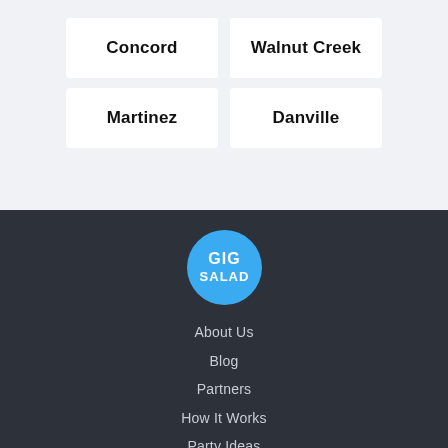Concord
Walnut Creek
Martinez
Danville
[Figure (logo): GIG SALAD circular blue logo]
About Us
Blog
Partners
How It Works
Party Ideas